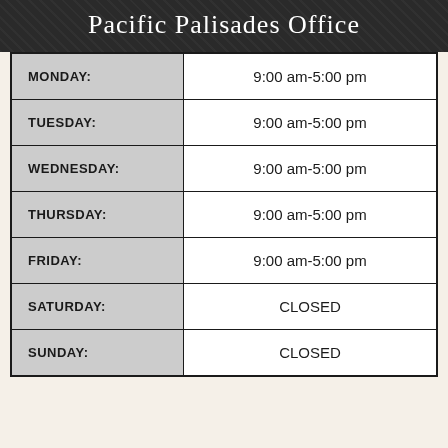Pacific Palisades Office
| Day | Hours |
| --- | --- |
| MONDAY: | 9:00 am-5:00 pm |
| TUESDAY: | 9:00 am-5:00 pm |
| WEDNESDAY: | 9:00 am-5:00 pm |
| THURSDAY: | 9:00 am-5:00 pm |
| FRIDAY: | 9:00 am-5:00 pm |
| SATURDAY: | CLOSED |
| SUNDAY: | CLOSED |
Locations